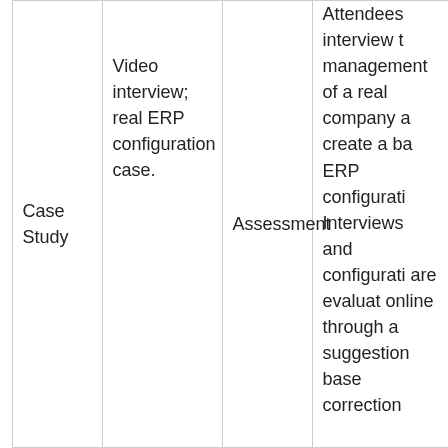| Case Study | Video interview; real ERP configuration case. | Assessment | Attendees interview the management of a real company and create a baseline ERP configuration. Interviews and configurations are evaluated online through a suggestion base correction... |